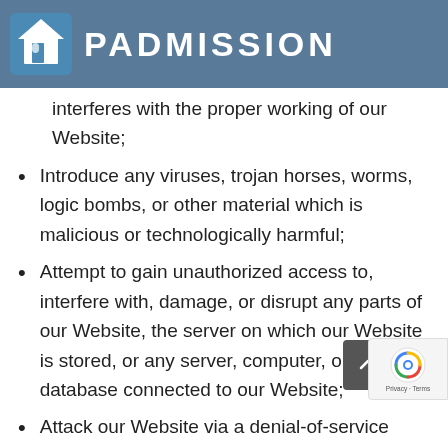[Figure (logo): Padmission logo: blue house icon with letter P, next to text PADMISSION in white on blue-grey header bar]
interferes with the proper working of our Website;
Introduce any viruses, trojan horses, worms, logic bombs, or other material which is malicious or technologically harmful;
Attempt to gain unauthorized access to, interfere with, damage, or disrupt any parts of our Website, the server on which our Website is stored, or any server, computer, or database connected to our Website;
Attack our Website via a denial-of-service attack or a distributed denial-of-service attack;